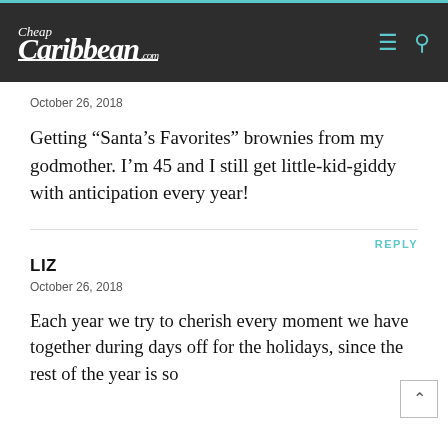Cheap Caribbean .com
October 26, 2018
Getting “Santa’s Favorites” brownies from my godmother. I’m 45 and I still get little-kid-giddy with anticipation every year!
REPLY
LIZ
October 26, 2018
Each year we try to cherish every moment we have together during days off for the holidays, since the rest of the year is so